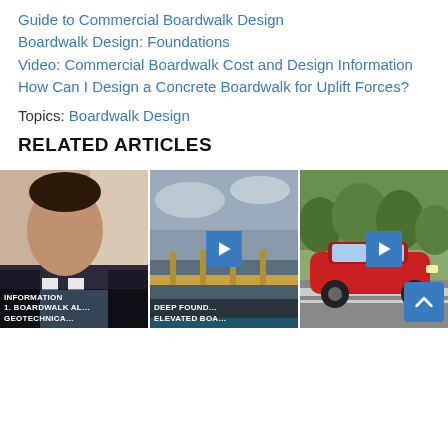Guide to Commercial Boardwalk Design
Boardwalk Design: Foundations
Video: Commercial Boardwalk Cost and Design Information
How Can I Design a Concrete Boardwalk for Uplift Forces?
Topics: Boardwalk Design
RELATED ARTICLES
[Figure (photo): Man speaking, with text overlay: INFORMATION 1. BOARDWALK AL... GEOTECHNICA...]
[Figure (photo): Elevated boardwalk over water with play button overlay, text: DEEP FOUND... ELEVATED BOA...]
[Figure (photo): Red car on road/boardwalk with play button overlay]